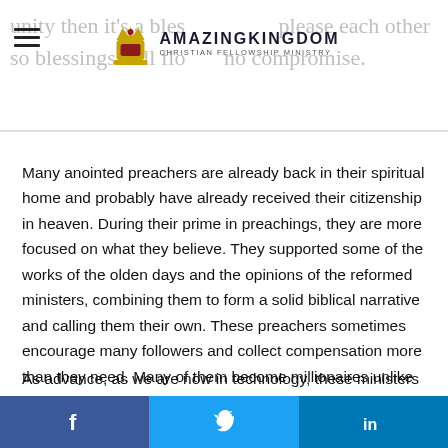AmazingKingdom Christian Fellowship Ministry
Many anointed preachers are already back in their spiritual home and probably have already received their citizenship in heaven. During their prime in preachings, they are more focused on what they believe. They supported some of the works of the olden days and the opinions of the reformed ministers, combining them to form a solid biblical narrative and calling them their own. These preachers sometimes encourage many followers and collect compensation more than they need. Many of them become millionaires unlike the Lord Jesus, a savior sent by the Savior who didn't make himself rich to deliver the message of the Father.
As advance, as we are now in technology, these ministers try